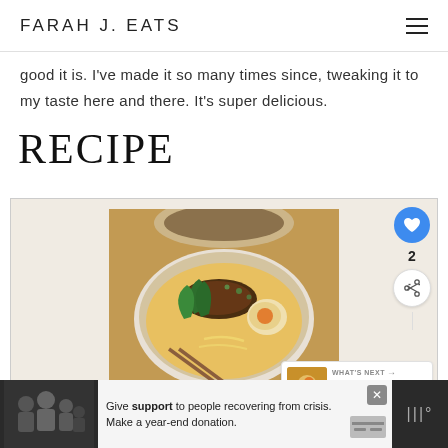FARAH J. EATS
good it is. I've made it so many times since, tweaking it to my taste here and there. It's super delicious.
RECIPE
[Figure (photo): Overhead view of a bowl of ramen/noodle soup with soft-boiled egg, bok choy, ground meat, and chopsticks on a wooden board]
Print Recipe
[Figure (screenshot): Advertisement banner: Give support to people recovering from crisis. Make a year-end donation.]